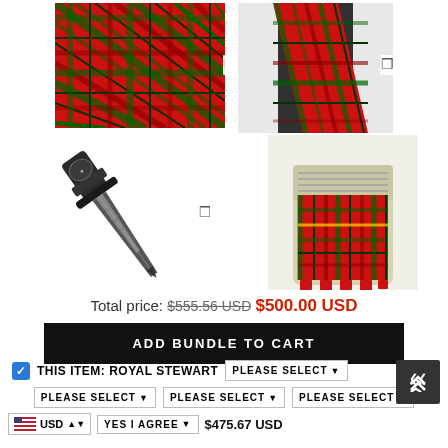[Figure (photo): Four product images: top-left tartan plaid fabric (red Royal Stewart), top-right person wearing tartan sash, bottom-left ornate sgian-dubh (dagger), bottom-right tartan flashes/kilt hose with Royal Stewart tartan]
Total price: $555.56 USD $500.00 USD
ADD BUNDLE TO CART
THIS ITEM: ROYAL STEWART  PLEASE SELECT
PLEASE SELECT  PLEASE SELECT  PLEASE SELECT
USD  YES I AGREE  $475.67 USD